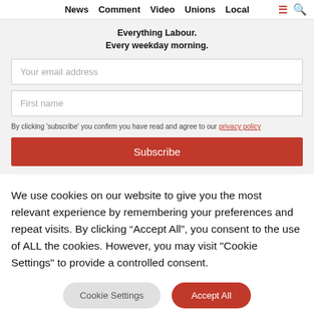News  Comment  Video  Unions  Local
Everything Labour.
Every weekday morning.
Your email address
First name
By clicking 'subscribe' you confirm you have read and agree to our privacy policy
Subscribe
We use cookies on our website to give you the most relevant experience by remembering your preferences and repeat visits. By clicking “Accept All”, you consent to the use of ALL the cookies. However, you may visit "Cookie Settings" to provide a controlled consent.
Cookie Settings
Accept All